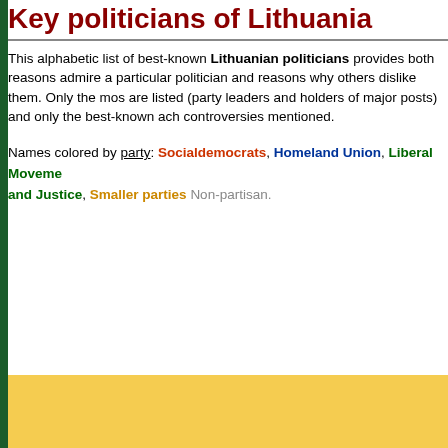Key politicians of Lithuania
This alphabetic list of best-known Lithuanian politicians provides both reasons admire a particular politician and reasons why others dislike them. Only the most are listed (party leaders and holders of major posts) and only the best-known ach controversies mentioned.
Names colored by party: Socialdemocrats, Homeland Union, Liberal Movement and Justice, Smaller parties Non-partisan.
[Figure (other): Yellow advertisement box placeholder]